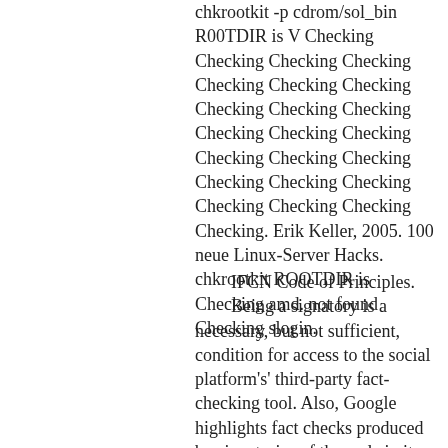chkrootkit -p cdrom/sol_bin R00TDIR is V Checking Checking Checking Checking Checking Checking Checking Checking Checking Checking Checking Checking Checking Checking Checking Checking Checking Checking Checking Checking Checking Checking Checking. Erik Keller, 2005. 100 neue Linux-Server Hacks. chkrootkit ROOTDIR is Checking amd. not found Checking slogin.
IFCN Code of Principles. Being a signatory is a necessary, but not sufficient, condition for access to the social platform's' third-party fact-checking tool. Also, Google highlights fact checks produced by signatories of the code in its search results. The code of principles" 1st year: a report.